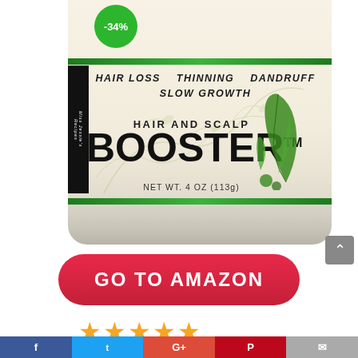[Figure (photo): Product photo of a cream jar labeled 'Hair and Scalp Booster' with a -34% discount badge in green circle. The jar has green stripes, botanical decorations, and text reading 'HAIR LOSS THINNING DANDRUFF SLOW GROWTH', 'HAIR AND SCALP', 'BOOSTER TM', 'NET WT. 4 OZ (113g)'.]
GO TO AMAZON
★★★★★